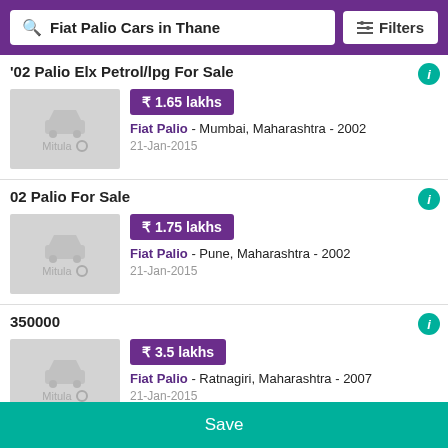Fiat Palio Cars in Thane | Filters
'02 Palio Elx Petrol/lpg For Sale
[Figure (photo): Placeholder car image with Mitula logo]
₹ 1.65 lakhs
Fiat Palio - Mumbai, Maharashtra - 2002
21-Jan-2015
02 Palio For Sale
[Figure (photo): Placeholder car image with Mitula logo]
₹ 1.75 lakhs
Fiat Palio - Pune, Maharashtra - 2002
21-Jan-2015
350000
[Figure (photo): Placeholder car image with Mitula logo]
₹ 3.5 lakhs
Fiat Palio - Ratnagiri, Maharashtra - 2007
21-Jan-2015
Save